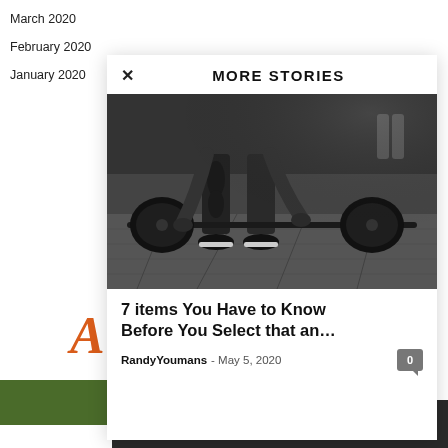March 2020
February 2020
January 2020
MORE STORIES
[Figure (photo): Black and white photo of a person lifting a barbell with weight plates at a gym]
7 items You Have to Know Before You Select that an…
RandyYoumans - May 5, 2020